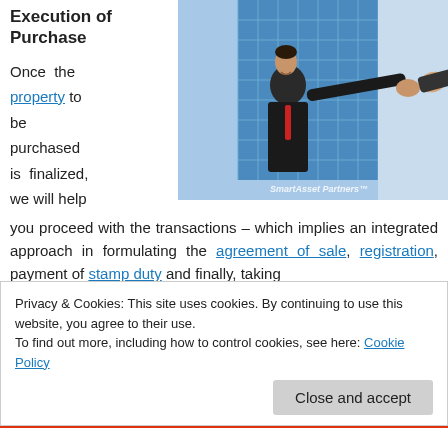Execution of Purchase
[Figure (photo): Two businessmen shaking hands in front of a modern glass building, watermarked SmartAsset Partners™]
Once the property to be purchased is finalized, we will help you proceed with the transactions – which implies an integrated approach in formulating the agreement of sale, registration, payment of stamp duty and finally, taking
Privacy & Cookies: This site uses cookies. By continuing to use this website, you agree to their use.
To find out more, including how to control cookies, see here: Cookie Policy
Close and accept